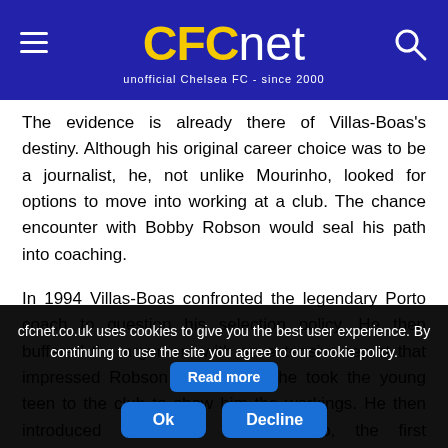CFCnet - unofficial Chelsea FC - since 2000
The evidence is already there of Villas-Boas's destiny. Although his original career choice was to be a journalist, he, not unlike Mourinho, looked for options to move into working at a club. The chance encounter with Bobby Robson would seal his path into coaching.
In 1994 Villas-Boas confronted the legendary Porto coach to question his selection policy. He then buffered the argument with an extensive report that impressed Robson to the point he took the young teen to the club to show him the workings. He then introduced Villas-Boas to Mourinho, the first encounter in a crucial relationship.
cfcnet.co.uk uses cookies to give you the best user experience. By continuing to use the site you agree to our cookie policy. Read more Ok Decline